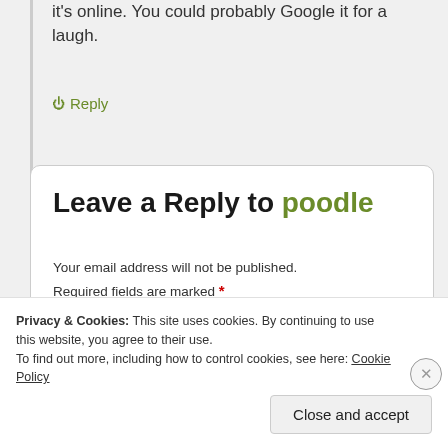it's online. You could probably Google it for a laugh.
0 Reply
Leave a Reply to poodle
Your email address will not be published. Required fields are marked *
Privacy & Cookies: This site uses cookies. By continuing to use this website, you agree to their use. To find out more, including how to control cookies, see here: Cookie Policy
Close and accept